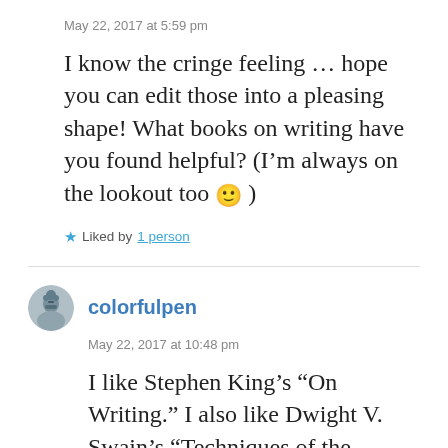May 22, 2017 at 5:59 pm
I know the cringe feeling … hope you can edit those into a pleasing shape! What books on writing have you found helpful? (I'm always on the lookout too 🙂 )
★ Liked by 1 person
colorfulpen
May 22, 2017 at 10:48 pm
I like Stephen King's “On Writing.” I also like Dwight V. Swain’s “Techniques of the Selling Writer.” As old as that one is, I still